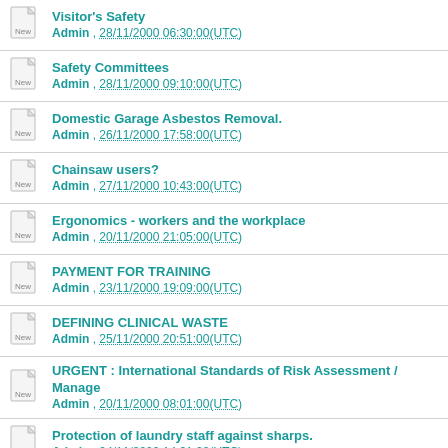Visitor's Safety
Admin , 28/11/2000 06:30:00(UTC)
Safety Committees
Admin , 28/11/2000 09:10:00(UTC)
Domestic Garage Asbestos Removal.
Admin , 26/11/2000 17:58:00(UTC)
Chainsaw users?
Admin , 27/11/2000 10:43:00(UTC)
Ergonomics - workers and the workplace
Admin , 20/11/2000 21:05:00(UTC)
PAYMENT FOR TRAINING
Admin , 23/11/2000 19:09:00(UTC)
DEFINING CLINICAL WASTE
Admin , 25/11/2000 20:51:00(UTC)
URGENT : International Standards of Risk Assessment / Manage
Admin , 20/11/2000 08:01:00(UTC)
Protection of laundry staff against sharps.
Admin , 24/11/2000 14:21:00(UTC)
Violence At Work - Reception Specifications
Admin , 23/11/2000 17:08:00(UTC)
Pregnant Workers Directive
Admin , 15/11/2000 15:51:00(UTC)